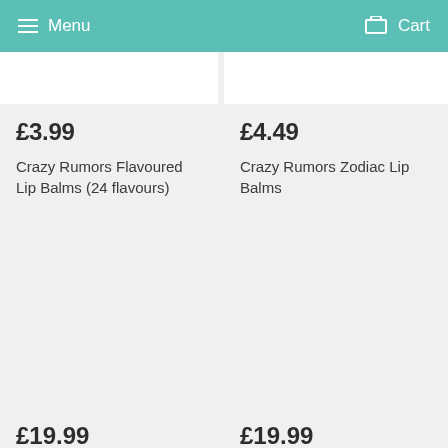Menu  Cart
£3.99
Crazy Rumors Flavoured Lip Balms (24 flavours)
£4.49
Crazy Rumors Zodiac Lip Balms
£19.99
£19.99